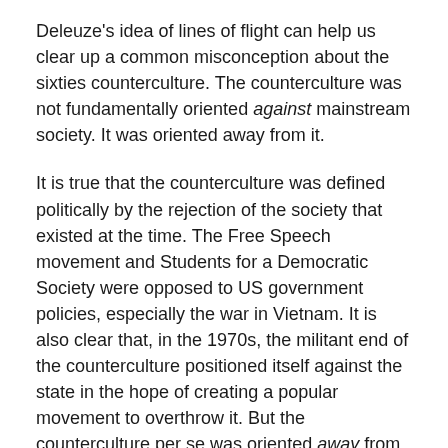Deleuze's idea of lines of flight can help us clear up a common misconception about the sixties counterculture. The counterculture was not fundamentally oriented against mainstream society. It was oriented away from it.
It is true that the counterculture was defined politically by the rejection of the society that existed at the time. The Free Speech movement and Students for a Democratic Society were opposed to US government policies, especially the war in Vietnam. It is also clear that, in the 1970s, the militant end of the counterculture positioned itself against the state in the hope of creating a popular movement to overthrow it. But the counterculture per se was oriented away from mainstream society. Being against was a means, not an end.